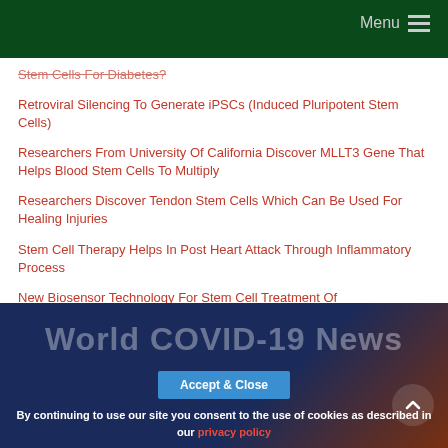Menu
Stem Cells For Diabetes?
Retroviral Silencing To Generate iPSCs (Induced Pluripotent Stem Cells)
Researchers From University Of California Discover MLLT3 Gene That Helps Blood Stem Cells To Multiply
Researchers Discover Tendon Stem Cells Which Can Be Used For Healing Injuries
Stem Cell Therapy Helps In Post Heart Attack Through Inflammatory Process
New Biosensor Technology For Stem Cell Treatment Of Neurodegenerative Diseases
[Figure (screenshot): World COVID-19 News banner with dark blue and brown background, Accept & Close cookie button overlay, and scroll-to-top arrow button]
By continuing to use our site you consent to the use of cookies as described in our privacy policy